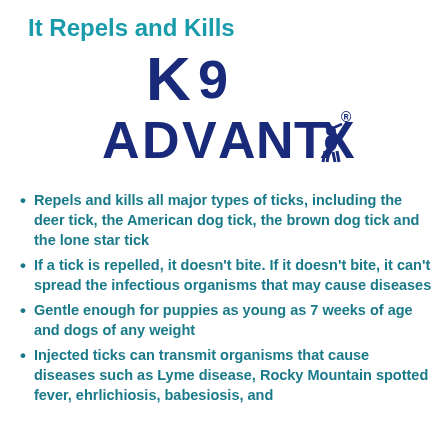It Repels and Kills
[Figure (logo): K9 Advantix logo in dark blue/navy with a dog silhouette incorporated into the letter X]
Repels and kills all major types of ticks, including the deer tick, the American dog tick, the brown dog tick and the lone star tick
If a tick is repelled, it doesn't bite. If it doesn't bite, it can't spread the infectious organisms that may cause diseases
Gentle enough for puppies as young as 7 weeks of age and dogs of any weight
Injected ticks can transmit organisms that cause diseases such as Lyme disease, Rocky Mountain spotted fever, ehrlichiosis, babesiosis, and